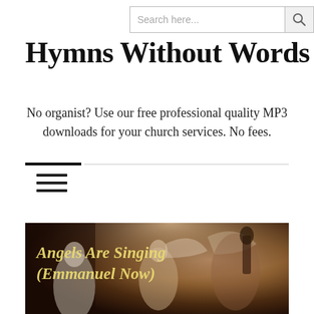Search here...
Hymns Without Words
No organist? Use our free professional quality MP3 downloads for your church services. No fees.
[Figure (illustration): Classic oil painting style image of angels singing and playing instruments (Emmanuel Now), with text overlay 'Angels Are Singing (Emmanuel Now)' in gold italic font on dark background]